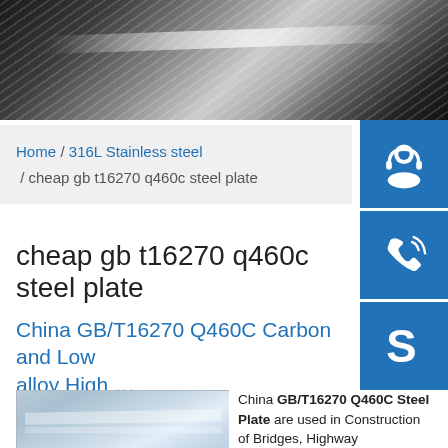[Figure (photo): Hero banner showing polished steel rods/bars with diagonal reflection lines on dark background]
Home / 316L Stainless steel / cheap gb t16270 q460c steel plate
cheap gb t16270 q460c steel plate
China GB/T16270 Q460C Carbon and Low alloy High …
[Figure (photo): Stacked stainless steel plates with reflective surface]
China GB/T16270 Q460C Steel Plate are used in Construction of Bridges, Highway Construction and Other Engineering construction. Any request